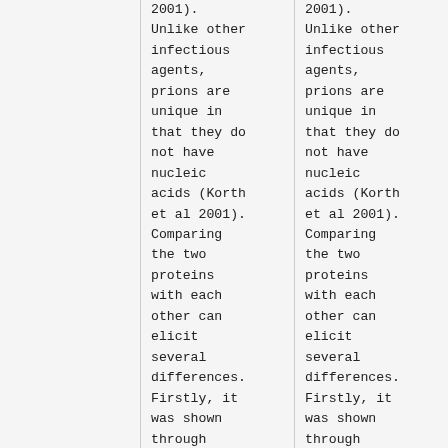2001). Unlike other infectious agents, prions are unique in that they do not have nucleic acids (Korth et al 2001). Comparing the two proteins with each other can elicit several differences. Firstly, it was shown through
2001). Unlike other infectious agents, prions are unique in that they do not have nucleic acids (Korth et al 2001). Comparing the two proteins with each other can elicit several differences. Firstly, it was shown through